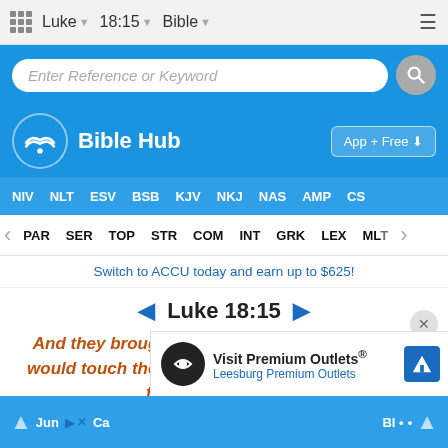Luke   18:15   Bible
Enter Reference or Keyword
Bible Hub   App + Free ↓
NIV  NLT  ESV  BSB  KJV  NKJ  NAS  AMP  CS
PAR  SER  TOP  STR  COM  INT  GRK  LEX  MLT
Switch to ACCU today and earn up to $625!
◄ Luke 18:15 ►
And they brought unto him also infants, that he would touch them: but when his disciples saw it, they rebuked them.
Visit Premium Outlets® Leesburg Premium Outlets